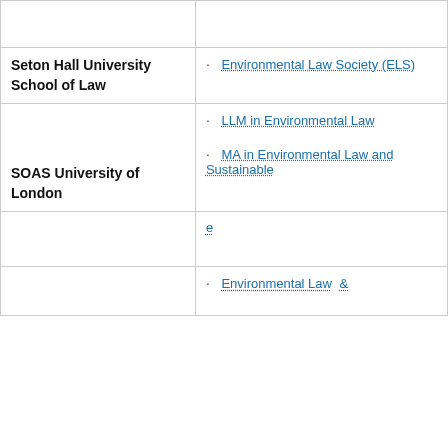| Institution | Programs/Organizations |
| --- | --- |
|  |  |
| Seton Hall University School of Law | · Environmental Law Society (ELS) |
|  | · LLM in Environmental Law
· MA in Environmental Law and Sustainable |
| SOAS University of London |  |
|  | e |
|  | Environmental Law |
This website uses cookies to ensure site visitors get the best experience on our website. By continuing to use this site, you accept our use of cookies and Privacy Statement. To learn more, please visit LSU Privacy Statement.
I agree.